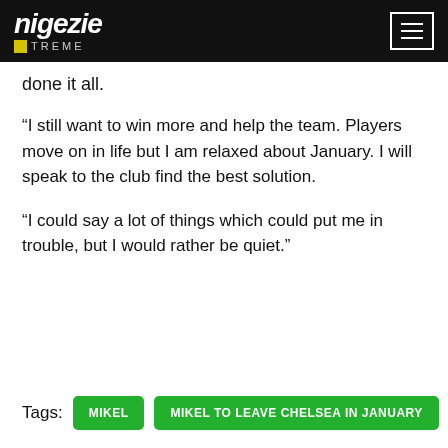nigezie XTREME
done it all.
“I still want to win more and help the team. Players move on in life but I am relaxed about January. I will speak to the club find the best solution.
“I could say a lot of things which could put me in trouble, but I would rather be quiet.”
Tags: MIKEL   MIKEL TO LEAVE CHELSEA IN JANUARY